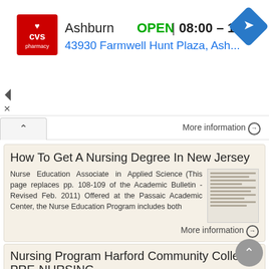[Figure (other): CVS Pharmacy advertisement banner showing Ashburn location, OPEN status, hours 08:00–13:30, and address 43930 Farmwell Hunt Plaza, Ash... with a blue navigation diamond icon]
More information ⊙
How To Get A Nursing Degree In New Jersey
Nurse Education Associate in Applied Science (This page replaces pp. 108-109 of the Academic Bulletin - Revised Feb. 2011) Offered at the Passaic Academic Center, the Nurse Education Program includes both
[Figure (photo): Thumbnail image of a document page with text lines]
More information ⊙
Nursing Program Harford Community College PRE-NURSING
Nursing Program Harford Community College PRE-NURSING Harford Community
[Figure (photo): Thumbnail photo of nursing students or staff]